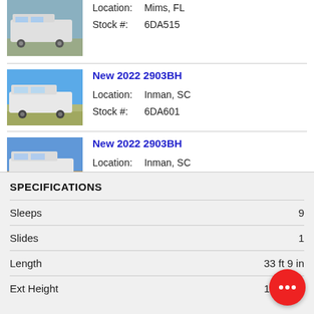[Figure (photo): RV trailer photo - partial listing at top, Mims FL]
Location:  Mims, FL
Stock #:   6DA515
[Figure (photo): RV trailer photo for New 2022 2903BH listing in Inman SC]
New 2022 2903BH
Location:  Inman, SC
Stock #:   6DA601
[Figure (photo): RV trailer photo for New 2022 2903BH listing in Inman SC]
New 2022 2903BH
Location:  Inman, SC
Stock #:   6DA618
SPECIFICATIONS
| Spec | Value |
| --- | --- |
| Sleeps | 9 |
| Slides | 1 |
| Length | 33 ft 9 in |
| Ext Height | 11 ft 2 in |